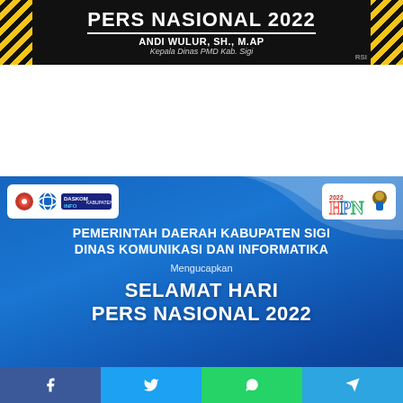[Figure (infographic): Top black banner with yellow diagonal stripes on sides. Title: PERS NASIONAL 2022. Name: ANDI WULUR, SH., M.AP. Subtitle: Kepala Dinas PMD Kab. Sigi. RSI badge bottom right.]
[Figure (infographic): Blue card with Diskominfo Kabupaten Sigi logo on left and HPN 2022 mascot logo on right. Text: PEMERINTAH DAERAH KABUPATEN SIGI DINAS KOMUNIKASI DAN INFORMATIKA, Mengucapkan, SELAMAT HARI PERS NASIONAL 2022. Quote: Teruslah berkarya, menyajikan. Person photo bottom right. Share bar at bottom with Facebook, Twitter, WhatsApp, Telegram icons.]